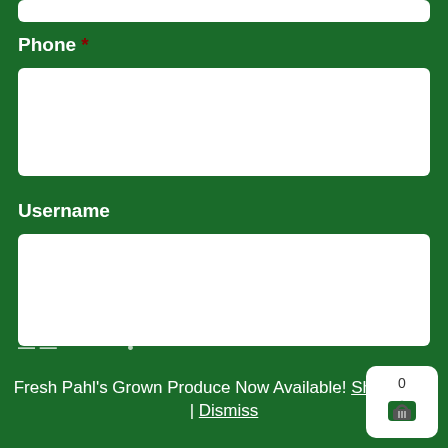Phone *
[Figure (screenshot): White input box for Phone field]
Username
[Figure (screenshot): White input box for Username field]
Password
[Figure (screenshot): White input box for Password field]
Fresh Pahl's Grown Produce Now Available! Shop Now! | Dismiss